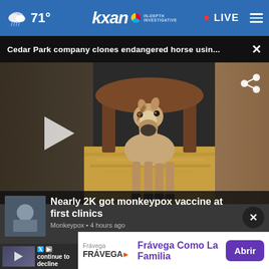71° KXAN IN-DEPTH INVESTIGATIVE • LIVE ≡
Cedar Park company clones endangered horse usin... ×
[Figure (photo): Photo of a young foal (Przewalski's horse clone) standing on hay with an adult horse behind it in a stable setting]
Nearly 2K got monkeypox vaccine at first clinics
Monkeypox • 4 hours ago
Frávega  Frávega Como La Familia  Abrir
continue to decline